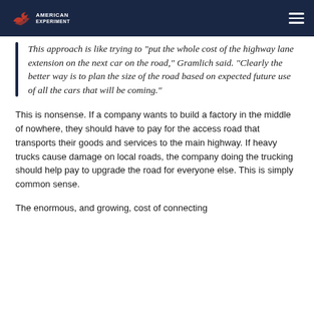American Experiment
This approach is like trying to "put the whole cost of the highway lane extension on the next car on the road," Gramlich said. "Clearly the better way is to plan the size of the road based on expected future use of all the cars that will be coming."
This is nonsense. If a company wants to build a factory in the middle of nowhere, they should have to pay for the access road that transports their goods and services to the main highway. If heavy trucks cause damage on local roads, the company doing the trucking should help pay to upgrade the road for everyone else. This is simply common sense.
The enormous, and growing, cost of connecting